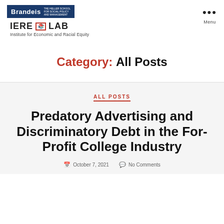[Figure (logo): Brandeis University Heller School logo in dark blue rectangle, followed by IERE LAB logo with book icon and subtitle 'Institute for Economic and Racial Equity']
Menu
Category: All Posts
ALL POSTS
Predatory Advertising and Discriminatory Debt in the For-Profit College Industry
October 7, 2021   No Comments